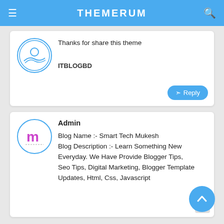THEMERUM
Thanks for share this theme
ITBLOGBD
Reply
Admin
Blog Name :- Smart Tech Mukesh Blog Description :- Learn Something New Everyday. We Have Provide Blogger Tips, Seo Tips, Digital Marketing, Blogger Template Updates, Html, Css, Javascript